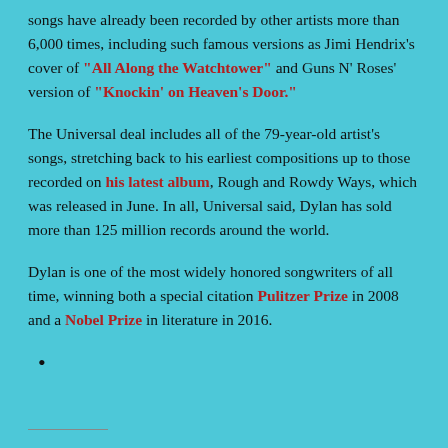songs have already been recorded by other artists more than 6,000 times, including such famous versions as Jimi Hendrix's cover of "All Along the Watchtower" and Guns N' Roses' version of "Knockin' on Heaven's Door."
The Universal deal includes all of the 79-year-old artist's songs, stretching back to his earliest compositions up to those recorded on his latest album, Rough and Rowdy Ways, which was released in June. In all, Universal said, Dylan has sold more than 125 million records around the world.
Dylan is one of the most widely honored songwriters of all time, winning both a special citation Pulitzer Prize in 2008 and a Nobel Prize in literature in 2016.
•